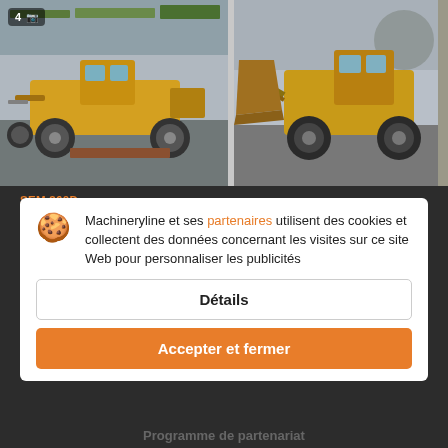[Figure (photo): Two construction machinery photos side by side: left shows a yellow motor grader/road grader in an industrial yard; right shows a yellow front-end wheel loader with bucket raised, in a yard.]
SEM 360D
53 000 SEK
Chargeur
Vitesse de déplacement: 35 km/h
Année: 07/2013, Kilométrage: 1500 m/h
Machineryline et ses partenaires utilisent des cookies et collectent des données concernant les visites sur ce site Web pour personnaliser les publicités
Détails
Accepter et fermer
Programme de partenariat